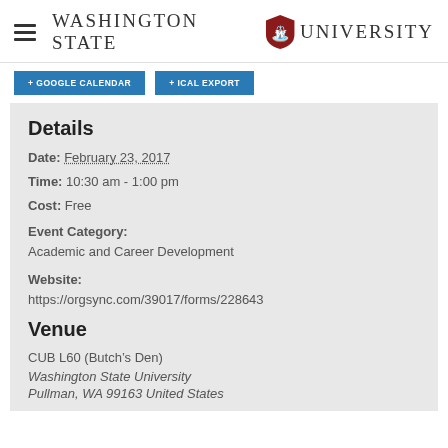Washington State University
+ GOOGLE CALENDAR   + ICAL EXPORT
Details
Date: February 23, 2017
Time: 10:30 am - 1:00 pm
Cost: Free
Event Category:
Academic and Career Development
Website:
https://orgsync.com/39017/forms/228643
Venue
CUB L60 (Butch’s Den)
Washington State University
Pullman, WA 99163 United States